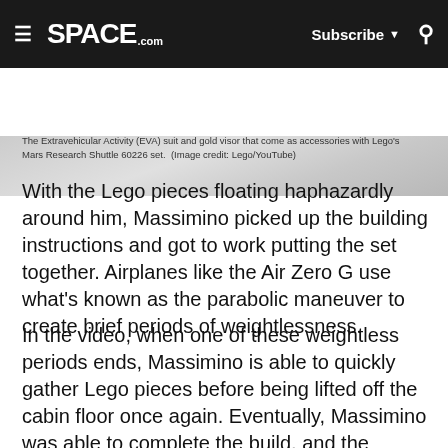SPACE.com | Subscribe | Search
[Figure (photo): Partial image of EVA suit and gold visor from Lego Mars Research Shuttle 60226 set - only bottom portion visible as gray/silver gradient strip]
The Extravehicular Activity (EVA) suit and gold visor that come as accessories with Lego's Mars Research Shuttle 60226 set.  (Image credit: Lego/YouTube)
With the Lego pieces floating haphazardly around him, Massimino picked up the building instructions and got to work putting the set together. Airplanes like the Air Zero G use what's known as the parabolic maneuver to create brief periods of weightlessness.
In the video, when one of these weightless periods ends, Massimino is able to quickly gather Lego pieces before being lifted off the cabin floor once again. Eventually, Massimino was able to complete the build, and the assembled shuttle floated in zero gravity